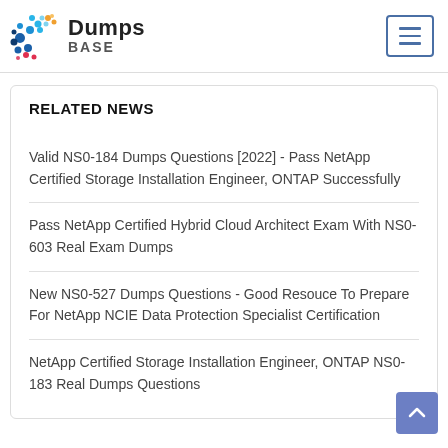Dumps BASE
RELATED NEWS
Valid NS0-184 Dumps Questions [2022] - Pass NetApp Certified Storage Installation Engineer, ONTAP Successfully
Pass NetApp Certified Hybrid Cloud Architect Exam With NS0-603 Real Exam Dumps
New NS0-527 Dumps Questions - Good Resouce To Prepare For NetApp NCIE Data Protection Specialist Certification
NetApp Certified Storage Installation Engineer, ONTAP NS0-183 Real Dumps Questions